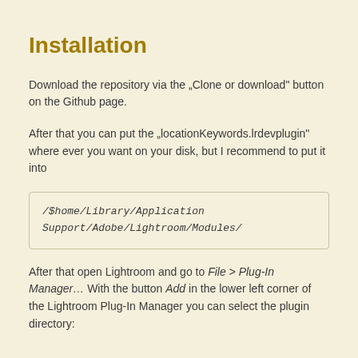Installation
Download the repository via the „Clone or download“ button on the Github page.
After that you can put the „locationKeywords.lrdevplugin“ where ever you want on your disk, but I recommend to put it into
/$home/Library/Application Support/Adobe/Lightroom/Modules/
After that open Lightroom and go to File > Plug-In Manager… With the button Add in the lower left corner of the Lightroom Plug-In Manager you can select the plugin directory: